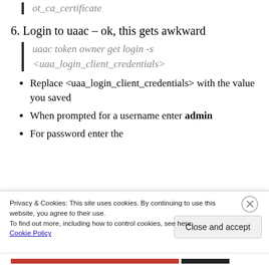ot_ca_certificate
6. Login to uaac – ok, this gets awkward
uaac token owner get login -s <uaa_login_client_credentials>
Replace <uaa_login_client_credentials> with the value you saved
When prompted for a username enter admin
For password enter the
Privacy & Cookies: This site uses cookies. By continuing to use this website, you agree to their use. To find out more, including how to control cookies, see here: Cookie Policy
Close and accept